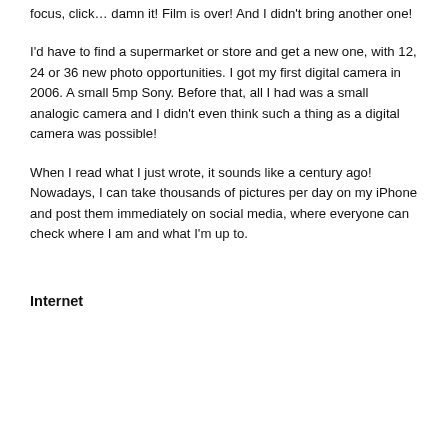focus, click… damn it! Film is over! And I didn't bring another one!
I'd have to find a supermarket or store and get a new one, with 12, 24 or 36 new photo opportunities. I got my first digital camera in 2006. A small 5mp Sony. Before that, all I had was a small analogic camera and I didn't even think such a thing as a digital camera was possible!
When I read what I just wrote, it sounds like a century ago! Nowadays, I can take thousands of pictures per day on my iPhone and post them immediately on social media, where everyone can check where I am and what I'm up to.
Internet